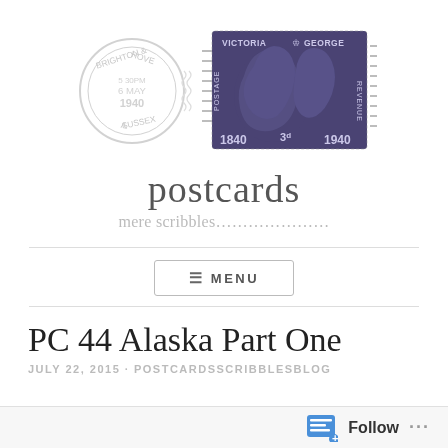[Figure (illustration): A circular postmark reading 'BRIGHTON & HOVE 5 30PM 6 MAY 1940 SUSSEX A' in faded gray ink, alongside a dark navy/purple stamp showing overlapping profiles of Queen Victoria and King George VI with text '1840 3d 1940 POSTAGE REVENUE VICTORIA GEORGE']
postcards
mere scribbles…………………
≡ MENU
PC 44 Alaska Part One
JULY 22, 2015 · POSTCARDSSCRIBBLESBLOG
Follow ···